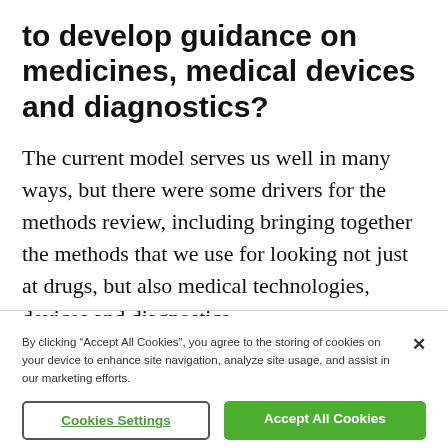to develop guidance on medicines, medical devices and diagnostics?
The current model serves us well in many ways, but there were some drivers for the methods review, including bringing together the methods that we use for looking not just at drugs, but also medical technologies, devices and diagnostics.
By clicking “Accept All Cookies”, you agree to the storing of cookies on your device to enhance site navigation, analyze site usage, and assist in our marketing efforts.
Cookies Settings
Accept All Cookies